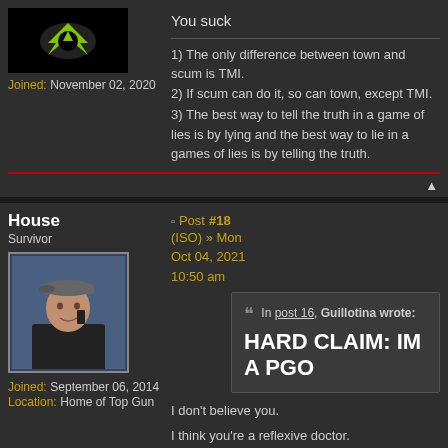[Figure (photo): Dark batman/monster avatar with green glowing bat symbol on black background]
Joined: November 02, 2020
You suck
1) The only difference between town and scum is TMI.
2) If scum can do it, so can town, except TMI.
3) The best way to tell the truth in a game of lies is by lying and the best way to lie in a games of lies is by telling the truth.
House
Survivor
Post #18
(ISO) » Mon Oct 04, 2021 10:50 am
[Figure (photo): Photo of a man wearing a flat cap and talking on a phone, indoor background]
Joined: September 06, 2014
Location: Home of Top Gun
In post 16, Guillotina wrote:
HARD CLAIM: IM A PGO
I don't believe you.
I think you're a reflexive doctor.
The apology that resulted in my indefinite ban: